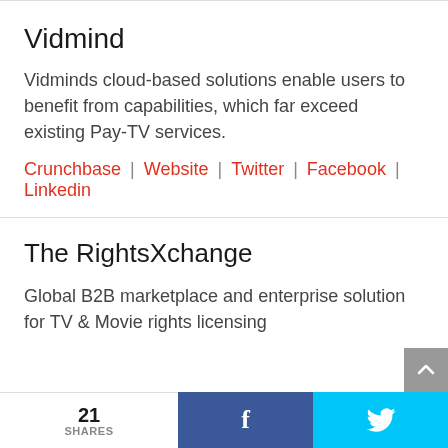Vidmind
Vidminds cloud-based solutions enable users to benefit from capabilities, which far exceed existing Pay-TV services.
Crunchbase | Website | Twitter | Facebook | Linkedin
The RightsXchange
Global B2B marketplace and enterprise solution for TV & Movie rights licensing
21 SHARES | f | bird-icon